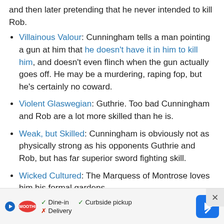and then later pretending that he never intended to kill Rob.
Villainous Valour: Cunningham tells a man pointing a gun at him that he doesn't have it in him to kill him, and doesn't even flinch when the gun actually goes off. He may be a murdering, raping fop, but he's certainly no coward.
Violent Glaswegian: Guthrie. Too bad Cunningham and Rob are a lot more skilled than he is.
Weak, but Skilled: Cunningham is obviously not as physically strong as his opponents Guthrie and Rob, but has far superior sword fighting skill.
Wicked Cultured: The Marquess of Montrose loves him his formal gardens.
Who's Your Daddy?: Mary is pregnant at the end of the film and there's no indication whether or not it's Rob's c